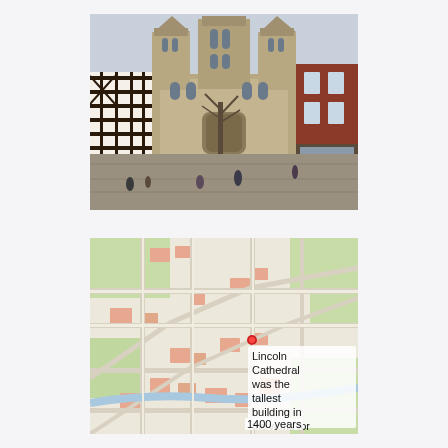[Figure (photo): Photograph of Lincoln Cathedral viewed from the square in front, showing the Gothic facade with three tall towers, flanked by a black-and-white timber-framed building on the left and a red brick building on the right, with people walking in the foreground.]
[Figure (map): Street map of Lincoln city centre with a red location pin marking Lincoln Cathedral. Overlaid text reads: 'Lincoln Cathedral was the tallest building in the world for 1400 years'.]